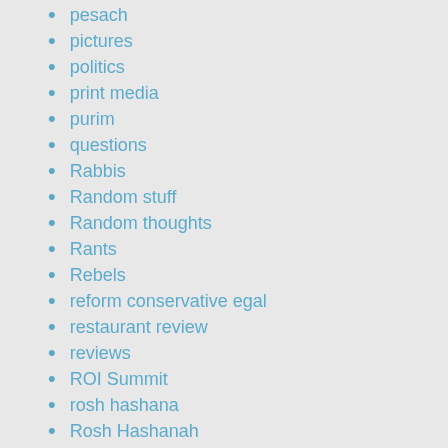pesach
pictures
politics
print media
purim
questions
Rabbis
Random stuff
Random thoughts
Rants
Rebels
reform conservative egal
restaurant review
reviews
ROI Summit
rosh hashana
Rosh Hashanah
satire
schwartzie
soferim